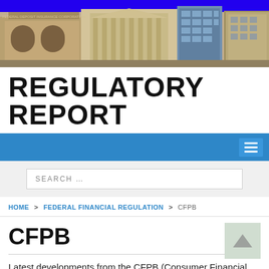[Figure (photo): Header photo of government and financial buildings (FDIC, Federal Reserve, modern office buildings) against a blue sky background.]
REGULATORY REPORT
[Figure (other): Blue navigation bar with hamburger menu icon on right side.]
[Figure (other): Search bar with placeholder text SEARCH ...]
HOME > FEDERAL FINANCIAL REGULATION > CFPB
CFPB
Latest developments from the CFPB (Consumer Financial